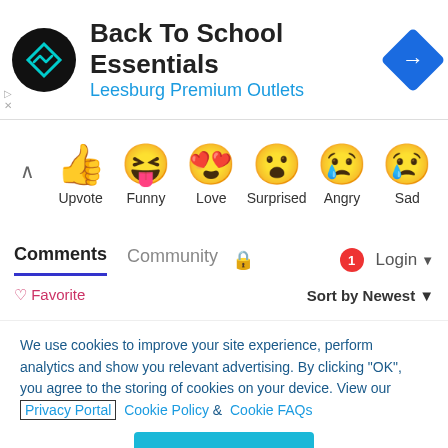[Figure (screenshot): Ad banner: Back To School Essentials at Leesburg Premium Outlets with logo and navigation arrow icon]
[Figure (infographic): Emoji reaction bar with Upvote (thumbs up), Funny, Love, Surprised, Angry, Sad emoji icons and labels]
Comments   Community   🔒   1   Login ▾
♡ Favorite   Sort by Newest ▾
We use cookies to improve your site experience, perform analytics and show you relevant advertising. By clicking "OK", you agree to the storing of cookies on your device. View our Privacy Portal   Cookie Policy &   Cookie FAQs
OK